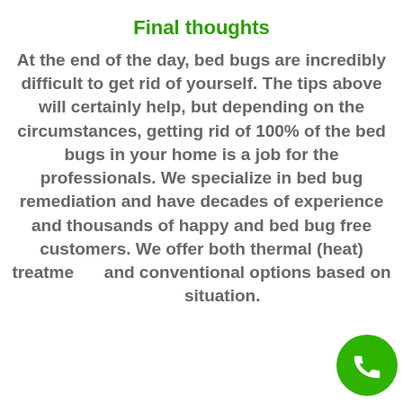Final thoughts
At the end of the day, bed bugs are incredibly difficult to get rid of yourself. The tips above will certainly help, but depending on the circumstances, getting rid of 100% of the bed bugs in your home is a job for the professionals. We specialize in bed bug remediation and have decades of experience and thousands of happy and bed bug free customers. We offer both thermal (heat) treatments and conventional options based on situation.